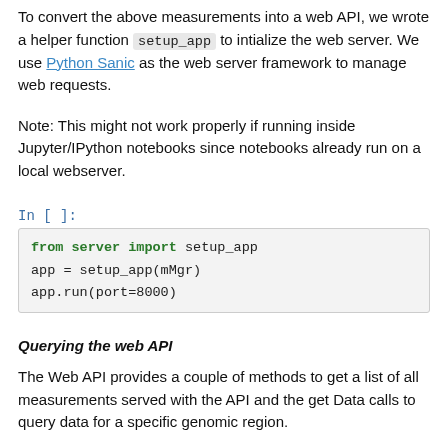To convert the above measurements into a web API, we wrote a helper function setup_app to intialize the web server. We use Python Sanic as the web server framework to manage web requests.
Note: This might not work properly if running inside Jupyter/IPython notebooks since notebooks already run on a local webserver.
In [ ]:
from server import setup_app
app = setup_app(mMgr)
app.run(port=8000)
Querying the web API
The Web API provides a couple of methods to get a list of all measurements served with the API and the get Data calls to query data for a specific genomic region.
List of all measurements served through the API
To query for list of all measurements/files served through the